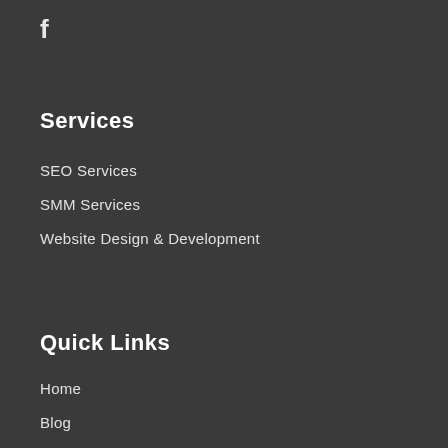[Figure (logo): Facebook icon letter f in white]
Services
SEO Services
SMM Services
Website Design & Development
Quick Links
Home
Blog
Contact Us